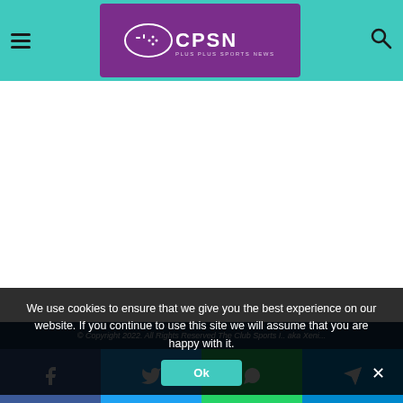CPSN - Club Plus Sports News
[Figure (logo): CPSN (Club Plus Sports News) logo in white text on purple/magenta background with oval icon]
We use cookies to ensure that we give you the best experience on our website. If you continue to use this site we will assume that you are happy with it.
© Copyright 2022. All Rights Reserved The Club Sports [...] aka Xen[...]